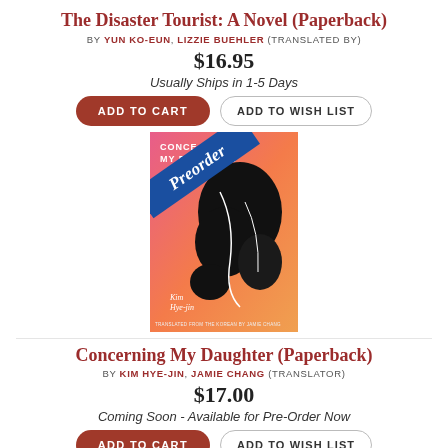The Disaster Tourist: A Novel (Paperback)
BY YUN KO-EUN, LIZZIE BUEHLER (TRANSLATED BY)
$16.95
Usually Ships in 1-5 Days
[Figure (photo): Book cover for 'Concerning My Daughter' with a blue diagonal Preorder banner across the top-left corner. The cover shows a colorful abstract illustration with black silhouettes on a pink/orange background.]
Concerning My Daughter (Paperback)
BY KIM HYE-JIN, JAMIE CHANG (TRANSLATOR)
$17.00
Coming Soon - Available for Pre-Order Now